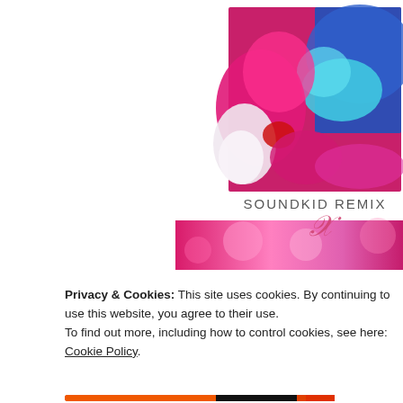[Figure (screenshot): Music player interface showing a circular album artwork display with a colorful abstract painting (pink, blue, cyan, red hues) in the center square labeled 'SOUNDKID REMIX' with a stylized X logo below. Behind the square are partially visible circular album images — pink/magenta on the left, yellow/orange bokeh on the right. A pink/magenta gradient strip runs along the bottom of the circular display area.]
Privacy & Cookies: This site uses cookies. By continuing to use this website, you agree to their use.
To find out more, including how to control cookies, see here: Cookie Policy.
[Figure (screenshot): A pink/magenta 'Close and accept' button with white bold text, and an X dismiss button (circle outline) to its right.]